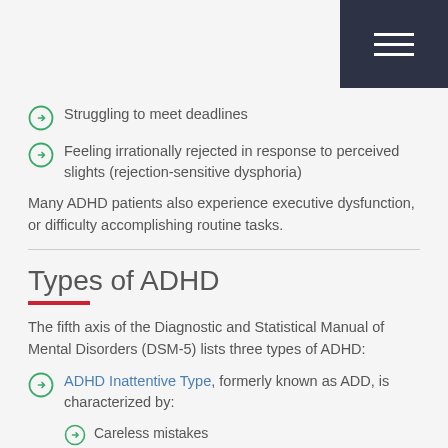Struggling to meet deadlines
Feeling irrationally rejected in response to perceived slights (rejection-sensitive dysphoria)
Many ADHD patients also experience executive dysfunction, or difficulty accomplishing routine tasks.
Types of ADHD
The fifth axis of the Diagnostic and Statistical Manual of Mental Disorders (DSM-5) lists three types of ADHD:
ADHD Inattentive Type, formerly known as ADD, is characterized by:
Careless mistakes
Difficulty sustaining attention in both work/school-